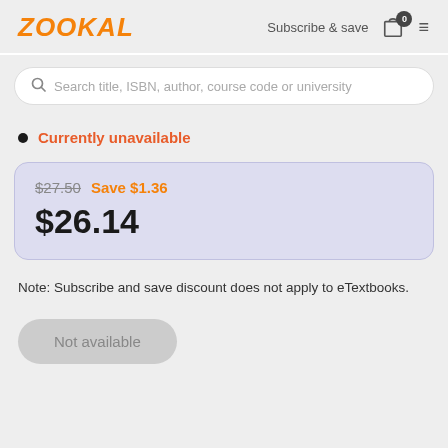ZOOKAL — Subscribe & save
Search title, ISBN, author, course code or university
Currently unavailable
$27.50  Save $1.36
$26.14
Note: Subscribe and save discount does not apply to eTextbooks.
Not available